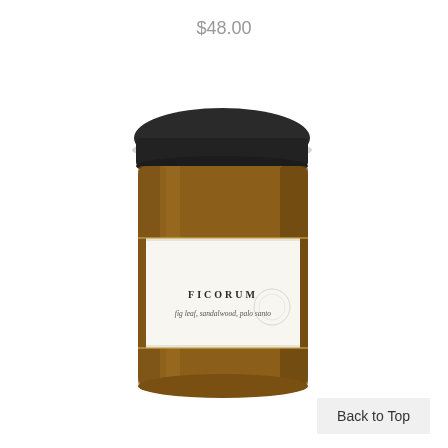$48.00
[Figure (photo): Amber glass candle jar with a dark metal screw-top lid. The jar has a white label reading 'FICORUM' and underneath in italic 'fig leaf, sandalwood, palo santo'. The jar is photographed on a white background.]
Back to Top